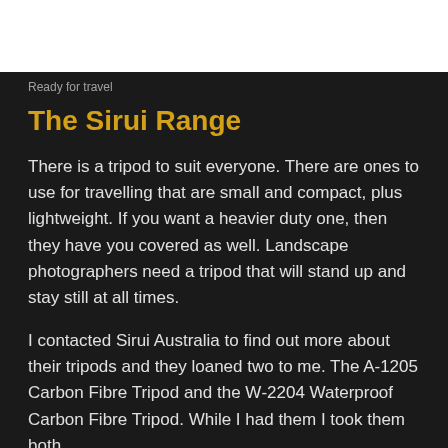[Figure (photo): White rectangle placeholder image at the top of the page]
Ready for travel
The Sirui Range
There is a tripod to suit everyone. There are ones to use for travelling that are small and compact, plus lightweight. If you want a heavier duty one, then they have you covered as well. Landscape photographers need a tripod that will stand up and stay still at all times.
I contacted Sirui Australia to find out more about their tripods and they loaned two to me. The A‑1205 Carbon Fibre Tripod and the W‑2204 Waterproof Carbon Fibre Tripod. While I had them I took them both